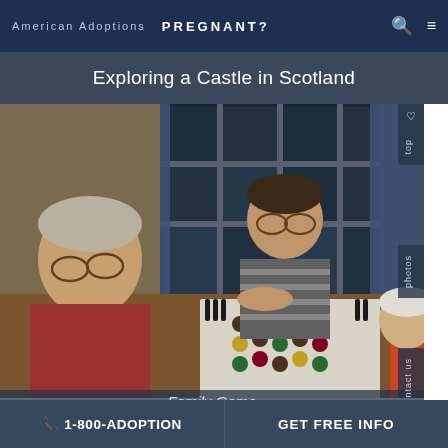American Adoptions   PREGNANT?
Exploring a Castle in Scotland
[Figure (photo): Family sitting around a table playing a board game indoors. An older man with glasses is on the left, a younger man with glasses in a striped shirt sits across from him, and a young woman with glasses smiles at the camera. A colorful board game is visible on the table.]
Family Game
📞 1-800-ADOPTION   GET FREE INFO